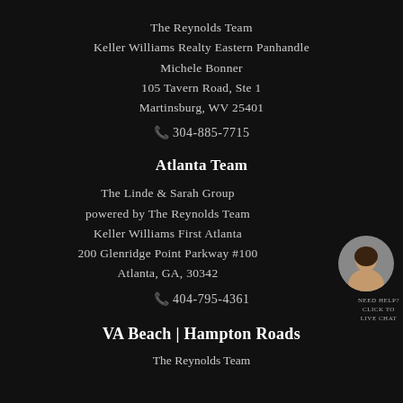The Reynolds Team
Keller Williams Realty Eastern Panhandle
Michele Bonner
105 Tavern Road, Ste 1
Martinsburg, WV 25401
📞 304-885-7715
Atlanta Team
The Linde & Sarah Group
powered by The Reynolds Team
Keller Williams First Atlanta
200 Glenridge Point Parkway #100
Atlanta, GA, 30342
📞 404-795-4361
[Figure (photo): Circular headshot of a smiling woman with dark hair]
NEED HELP?
CLICK TO
LIVE CHAT
VA Beach | Hampton Roads
The Reynolds Team